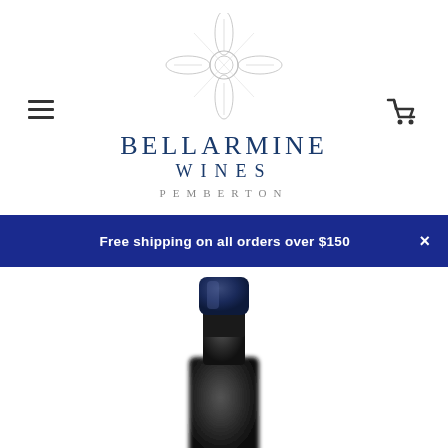[Figure (logo): Bellarmine Wines Pemberton logo with decorative emblem and brand name]
Free shipping on all orders over $150
[Figure (photo): Top of a dark wine bottle with a navy blue foil capsule, blurred background, cropped near the neck]